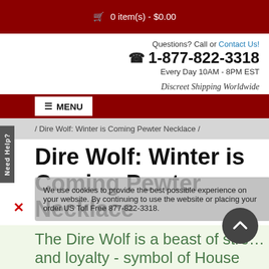🛒 0 item(s) - $0.00
Questions? Call or Contact Us!
☎ 1-877-822-3318
Every Day 10AM - 8PM EST
Discreet Shipping Worldwide
≡ MENU
/ Dire Wolf: Winter is Coming Pewter Necklace /
Dire Wolf: Winter is Coming Pewter Necklace
We use cookies to provide the best possible experience on our website. By continuing to use the website or placing your order US Toll Free 877-822-3318.
The Dire Wolf is a beast of strength and loyalty - symbol of House Stark